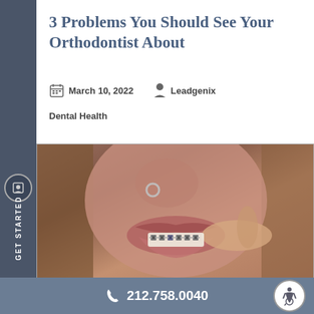3 Problems You Should See Your Orthodontist About
March 10, 2022   Leadgenix
Dental Health
[Figure (photo): Close-up photo of a person with braces pulling their cheek aside with a finger, also wearing a nose ring]
212.758.0040